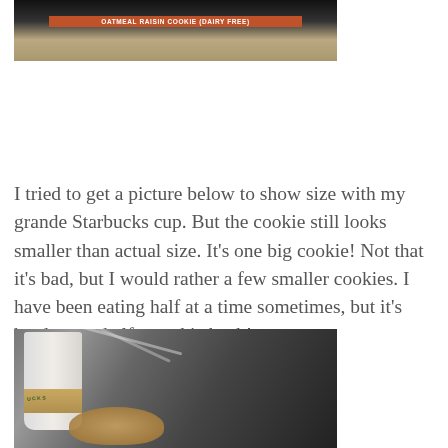[Figure (photo): Photo of an oatmeal raisin cookie package with a label reading 'OATMEAL RAISIN COOKIE (DAIRY FREE)' on an orange banner, showing the cookie texture]
I tried to get a picture below to show size with my grande Starbucks cup.  But the cookie still looks smaller than actual size.  It's one big cookie!  Not that it's bad, but I would rather a few smaller cookies.  I have been eating half at a time sometimes, but it's hard to put half a cookie back!
[Figure (photo): Photo of a Starbucks grande cup next to an oatmeal raisin cookie on a dark table, showing size comparison]